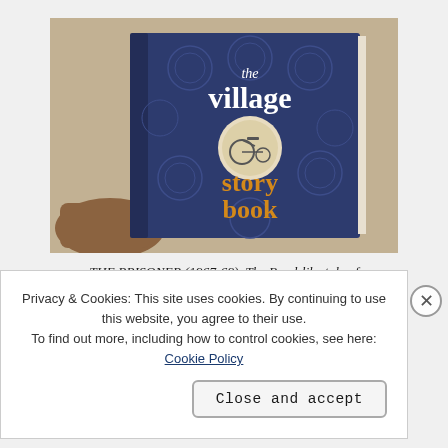[Figure (photo): A hand holding 'The Village Story Book' — a dark navy blue hardcover book with circular pattern designs and a penny-farthing bicycle medallion in the center. The words 'the village' appear in white at the top and 'story book' in orange at the bottom.]
THE PRISONER (1967-68). The Bond-like tale of 'The Girl Who Was Death' is revealed to be a children's story book, with clear connotations of
Privacy & Cookies: This site uses cookies. By continuing to use this website, you agree to their use.
To find out more, including how to control cookies, see here: Cookie Policy